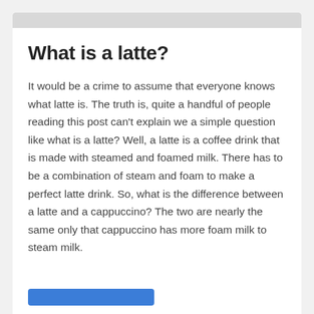What is a latte?
It would be a crime to assume that everyone knows what latte is. The truth is, quite a handful of people reading this post can't explain we a simple question like what is a latte? Well, a latte is a coffee drink that is made with steamed and foamed milk. There has to be a combination of steam and foam to make a perfect latte drink. So, what is the difference between a latte and a cappuccino? The two are nearly the same only that cappuccino has more foam milk to steam milk.